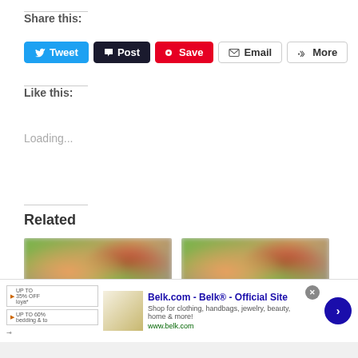Share this:
[Figure (screenshot): Social share buttons: Tweet (blue), Post (dark), Save (red/Pinterest), Email (outline), More (outline)]
Like this:
Loading...
Related
[Figure (photo): Two side-by-side related article thumbnail images showing a blurred photo of a child with glasses smiling outdoors]
[Figure (screenshot): Advertisement banner: Belk.com - Belk® - Official Site. Shop for clothing, handbags, jewelry, beauty, home & more! www.belk.com. With infolinks badge, close button, and next arrow.]